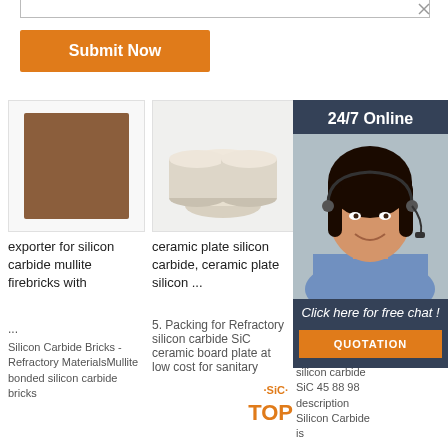Submit Now
[Figure (photo): Brown silicon carbide mullite firebrick square tile on white background]
exporter for silicon carbide mullite firebricks with ...
Silicon Carbide Bricks - Refractory MaterialsMullite bonded silicon carbide bricks
[Figure (photo): White ceramic SiC cylindrical rings stacked together on white background]
ceramic plate silicon carbide, ceramic plate silicon ...
5. Packing for Refractory silicon carbide SiC ceramic board plate at low cost for sanitary
[Figure (photo): Partial view of a beige/brown box shape on white background]
silicon carbi 88, si carbic Supp...
silicon carbide SiC 45 88 98 silicon carbide SiC 45 88 98 description Silicon Carbide is
[Figure (illustration): 24/7 Online chat widget with female customer service agent wearing headset]
24/7 Online
Click here for free chat !
QUOTATION